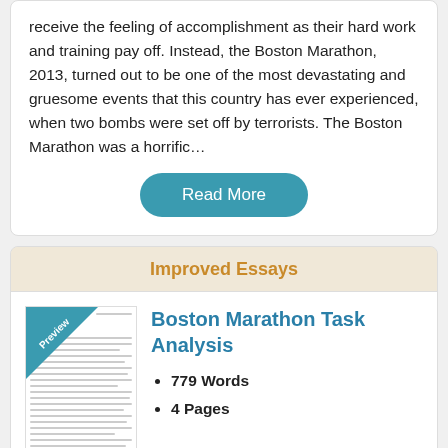receive the feeling of accomplishment as their hard work and training pay off. Instead, the Boston Marathon, 2013, turned out to be one of the most devastating and gruesome events that this country has ever experienced, when two bombs were set off by terrorists. The Boston Marathon was a horrific…
Read More
Improved Essays
[Figure (other): Preview thumbnail of an essay document with a blue diagonal 'Preview' badge in the top-left corner]
Boston Marathon Task Analysis
779 Words
4 Pages
athlete to qualify for the Boston Marathon. This